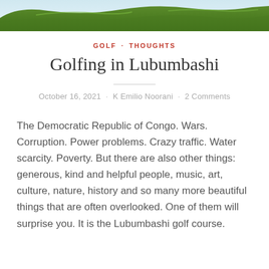[Figure (photo): Partial view of a golf course with green grass, seen from above, cropped at the top of the page.]
GOLF · THOUGHTS
Golfing in Lubumbashi
October 16, 2021 · K Emilio Noorani · 2 Comments
The Democratic Republic of Congo. Wars. Corruption. Power problems. Crazy traffic. Water scarcity. Poverty. But there are also other things: generous, kind and helpful people, music, art, culture, nature, history and so many more beautiful things that are often overlooked. One of them will surprise you. It is the Lubumbashi golf course.